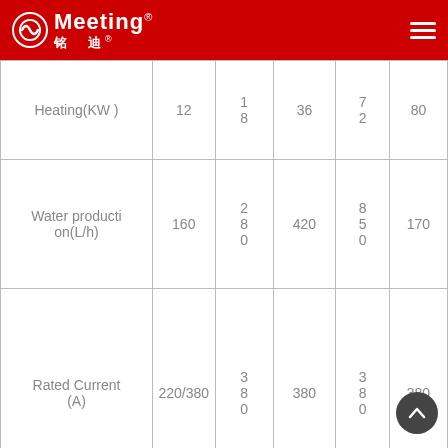Meeting® 铭 迪®
|  |  |  |  |  |  |
| --- | --- | --- | --- | --- | --- |
| Heating(KW) | 12 | 18 | 36 | 72 | 80 |
| Water production(L/h) | 160 | 280 | 420 | 850 | 170 |
| Rated Current (A) | 220/380 | 380 | 380 | 380 | 380 |
| Rated frequency Hz |  |  | 50 |  |  |